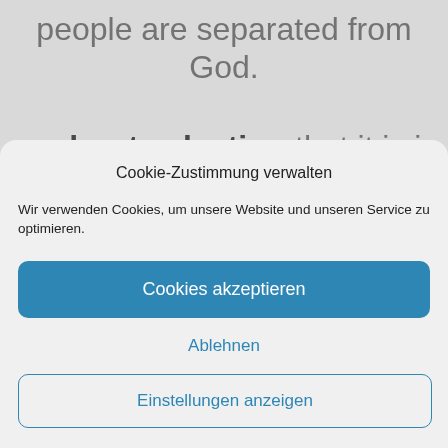people are separated from God.
… about salvation that it is is offered to us by grace alone and
Cookie-Zustimmung verwalten
Wir verwenden Cookies, um unsere Website und unseren Service zu optimieren.
Cookies akzeptieren
Ablehnen
Einstellungen anzeigen